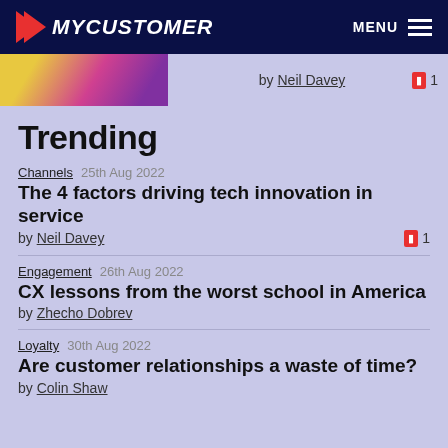MYCUSTOMER | MENU
by Neil Davey  1
Trending
Channels  25th Aug 2022
The 4 factors driving tech innovation in service
by Neil Davey  1
Engagement  26th Aug 2022
CX lessons from the worst school in America
by Zhecho Dobrev
Loyalty  30th Aug 2022
Are customer relationships a waste of time?
by Colin Shaw